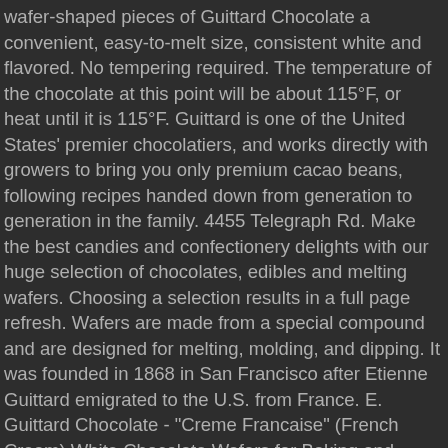wafer-shaped pieces of Guittard Chocolate a convenient, easy-to-melt size, consistent white and flavored. No tempering required. The temperature of the chocolate at this point will be about 115°F, or heat until it is 115°F. Guittard is one of the United States' premier chocolatiers, and works directly with growers to bring you only premium cacao beans, following recipes handed down from generation to generation in the family. 4455 Telegraph Rd. Make the best candies and confectionery delights with our huge selection of chocolates, edibles and melting wafers. Choosing a selection results in a full page refresh. Wafers are made from a special compound and are designed for melting, molding, and dipping. It was founded in 1868 in San Francisco after Etienne Guittard emigrated to the U.S. from France. E. Guittard Chocolate - "Creme Francaise" (French Cream) White Chocolate Wafers for Baking and Eating, 31% Cocoa, Gold Bag, 2 Pounds. Create desserts that you are proud to serve and guests will endlessly crave when using these Guittard 25 lb. I don't like to be tricked.